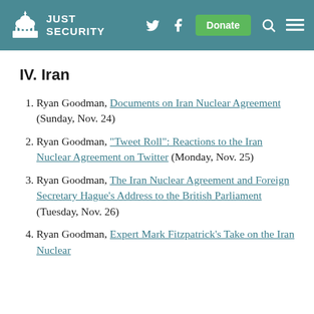Just Security
IV. Iran
Ryan Goodman, Documents on Iran Nuclear Agreement (Sunday, Nov. 24)
Ryan Goodman, "Tweet Roll": Reactions to the Iran Nuclear Agreement on Twitter (Monday, Nov. 25)
Ryan Goodman, The Iran Nuclear Agreement and Foreign Secretary Hague's Address to the British Parliament (Tuesday, Nov. 26)
Ryan Goodman, Expert Mark Fitzpatrick's Take on the Iran Nuclear...